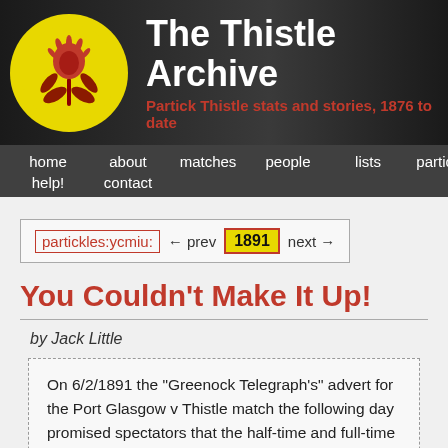The Thistle Archive — Partick Thistle stats and stories, 1876 to date
home | about | matches | people | lists | partickles | help! | contact
partickles:ycmiu: ← prev 1891 next →
You Couldn't Make It Up!
by Jack Little
On 6/2/1891 the "Greenock Telegraph's" advert for the Port Glasgow v Thistle match the following day promised spectators that the half-time and full-time scores